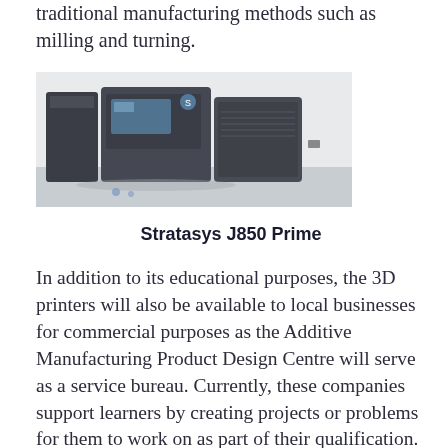traditional manufacturing methods such as milling and turning.
[Figure (photo): Photo of Stratasys 3D printing machines (large dark grey industrial units) placed in a room with white walls and grey flooring.]
Stratasys J850 Prime
In addition to its educational purposes, the 3D printers will also be available to local businesses for commercial purposes as the Additive Manufacturing Product Design Centre will serve as a service bureau. Currently, these companies support learners by creating projects or problems for them to work on as part of their qualification. A